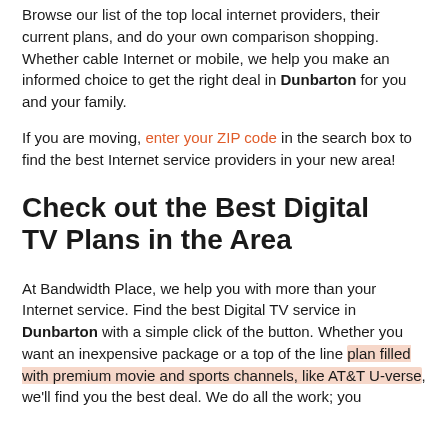Browse our list of the top local internet providers, their current plans, and do your own comparison shopping. Whether cable Internet or mobile, we help you make an informed choice to get the right deal in Dunbarton for you and your family.
If you are moving, enter your ZIP code in the search box to find the best Internet service providers in your new area!
Check out the Best Digital TV Plans in the Area
At Bandwidth Place, we help you with more than your Internet service. Find the best Digital TV service in Dunbarton with a simple click of the button. Whether you want an inexpensive package or a top of the line plan filled with premium movie and sports channels, like AT&T U-verse, we'll find you the best deal. We do all the work; you